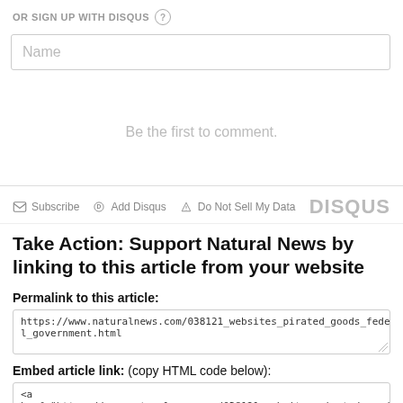OR SIGN UP WITH DISQUS
Name
Be the first to comment.
Subscribe  Add Disqus  Do Not Sell My Data  DISQUS
Take Action: Support Natural News by linking to this article from your website
Permalink to this article:
https://www.naturalnews.com/038121_websites_pirated_goods_federal_government.html
Embed article link: (copy HTML code below):
<a
href="https://www.naturalnews.com/038121_websites_pirated_goods